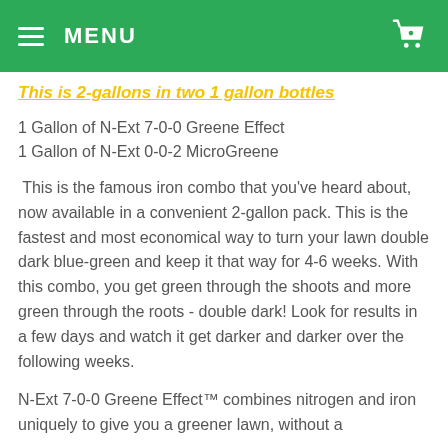MENU
This is 2-gallons in two 1 gallon bottles
1 Gallon of N-Ext 7-0-0 Greene Effect
1 Gallon of N-Ext 0-0-2 MicroGreene
This is the famous iron combo that you've heard about, now available in a convenient 2-gallon pack. This is the fastest and most economical way to turn your lawn double dark blue-green and keep it that way for 4-6 weeks. With this combo, you get green through the shoots and more green through the roots - double dark! Look for results in a few days and watch it get darker and darker over the following weeks.
N-Ext 7-0-0 Greene Effect™ combines nitrogen and iron uniquely to give you a greener lawn, without a